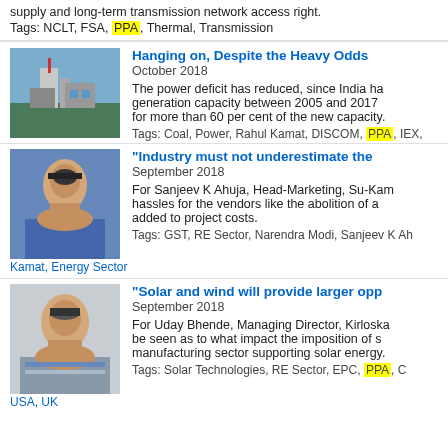supply and long-term transmission network access right.
Tags: NCLT, FSA, PPA, Thermal, Transmission
Hanging on, Despite the Heavy Odds
October 2018
The power deficit has reduced, since India ha... generation capacity between 2005 and 2017 for more than 60 per cent of the new capacity.
Tags: Coal, Power, Rahul Kamat, DISCOM, PPA, IEX,
"Industry must not underestimate the..."
September 2018
For Sanjeev K Ahuja, Head-Marketing, Su-Kam... hassles for the vendors like the abolition of a... added to project costs.
Tags: GST, RE Sector, Narendra Modi, Sanjeev K Ah...
Kamat, Energy Sector
"Solar and wind will provide larger opp..."
September 2018
For Uday Bhende, Managing Director, Kirloska... be seen as to what impact the imposition of s... manufacturing sector supporting solar energy.
Tags: Solar Technologies, RE Sector, EPC, PPA, C...
USA, UK